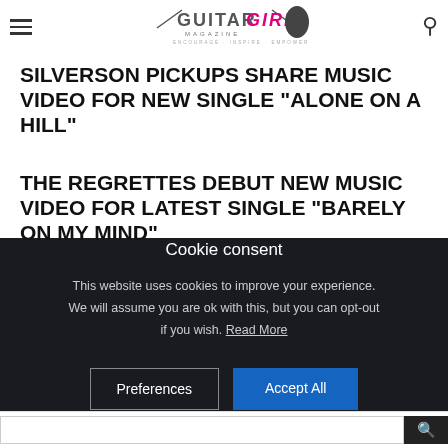Guitar Girl Magazine
SILVERSON PICKUPS SHARE MUSIC VIDEO FOR NEW SINGLE “ALONE ON A HILL”
THE REGRETTES DEBUT NEW MUSIC VIDEO FOR LATEST SINGLE “BARELY ON MY MIND”
Cookie consent
This website uses cookies to improve your experience. We will assume you are ok with this, but you can opt-out if you wish. Read More